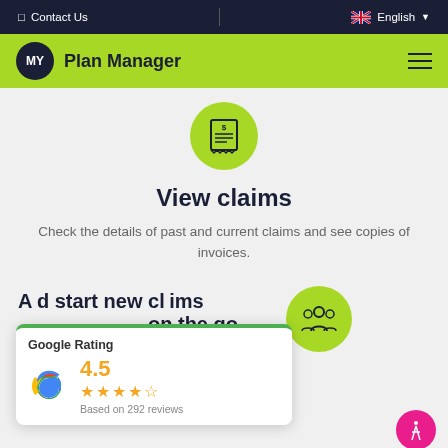Contact Us | English
[Figure (logo): MY Plan Manager logo with green navigation bar and hamburger menu]
[Figure (illustration): Green circle icon with a receipt/invoice symbol containing dollar sign]
View claims
Check the details of past and current claims and see copies of invoices.
[Figure (illustration): Google Rating widget showing 4.5 stars based on 292 reviews, with green top border and Google G logo]
[Figure (illustration): Green circle icon with people/group symbol]
Access and start new claims on the go
Check the details of invoices and